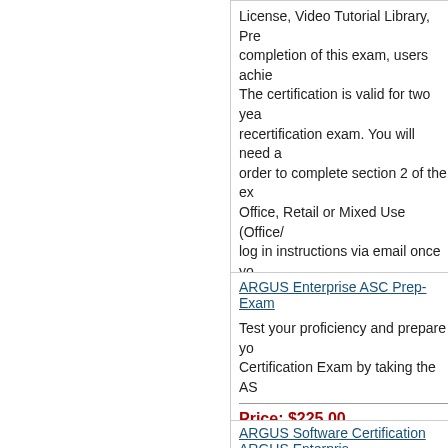License, Video Tutorial Library, Prep... completion of this exam, users achie... The certification is valid for two yea... recertification exam. You will need a... order to complete section 2 of the ex... Office, Retail or Mixed Use (Office/... log in instructions via email once yo...
Price: $1,350.00
* Attendee Name
* Email
1
Buy
ARGUS Enterprise ASC Prep-Exam
Test your proficiency and prepare yo... Certification Exam by taking the AS...
Price: $225.00
* Attendee Name
* Email
1
Buy
ARGUS Software Certification ARGUS Enterpris...